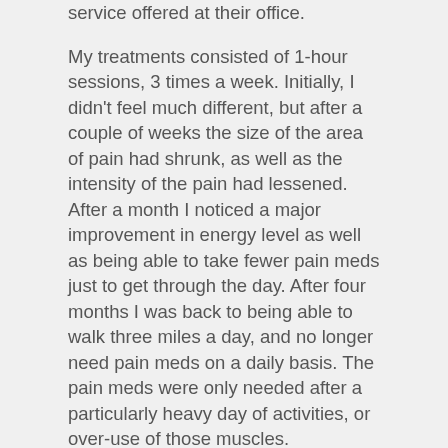service offered at their office.
My treatments consisted of 1-hour sessions, 3 times a week. Initially, I didn't feel much different, but after a couple of weeks the size of the area of pain had shrunk, as well as the intensity of the pain had lessened. After a month I noticed a major improvement in energy level as well as being able to take fewer pain meds just to get through the day. After four months I was back to being able to walk three miles a day, and no longer need pain meds on a daily basis. The pain meds were only needed after a particularly heavy day of activities, or over-use of those muscles.